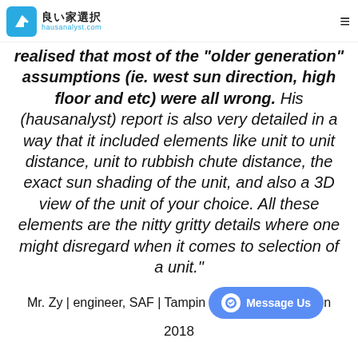良い家選択 hausanalyst.com
realised that most of the "older generation" assumptions (ie. west sun direction, high floor and etc) were all wrong. His (hausanalyst) report is also very detailed in a way that it included elements like unit to unit distance, unit to rubbish chute distance, the exact sun shading of the unit, and also a 3D view of the unit of your choice. All these elements are the nitty gritty details where one might disregard when it comes to selection of a unit."
Mr. Zy | engineer, SAF | Tampines | 2018